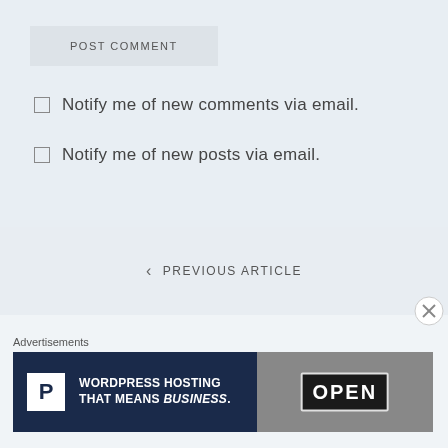POST COMMENT
Notify me of new comments via email.
Notify me of new posts via email.
< PREVIOUS ARTICLE
Advertisements
[Figure (screenshot): Advertisement banner for WordPress Hosting with text 'WORDPRESS HOSTING THAT MEANS BUSINESS.' alongside an OPEN sign photo]